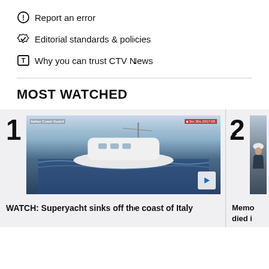Report an error
Editorial standards & policies
Why you can trust CTV News
MOST WATCHED
[Figure (photo): Thumbnail 1: Superyacht sinking off the coast of Italy, aerial/side view over dark waves. Overlaid text: 'Italian Coast Guard' and red badge with duration. Play button visible at bottom right.]
WATCH: Superyacht sinks off the coast of Italy
[Figure (photo): Thumbnail 2 (partially visible): Person in dark jacket and white hat, partially cropped.]
Memo died i